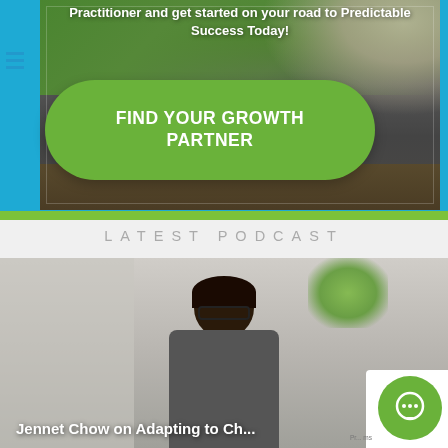[Figure (screenshot): Blue banner with blurred office/financial crisis photo background, green pill-shaped CTA button reading FIND YOUR GROWTH PARTNER, white bold text at top reading 'Practitioner and get started on your road to Predictable Success Today!']
FIND YOUR GROWTH PARTNER
LATEST PODCAST
[Figure (photo): Podcast thumbnail showing a woman with glasses and dark hair in a grey/white office setting, with overlay text 'Jennet Chow on Adapting to Ch...' and a green chat button in the bottom right corner]